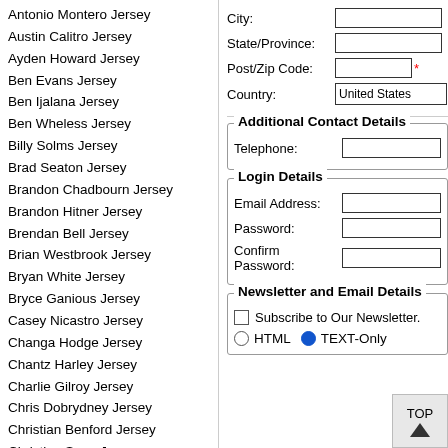Antonio Montero Jersey
Austin Calitro Jersey
Ayden Howard Jersey
Ben Evans Jersey
Ben Ijalana Jersey
Ben Wheless Jersey
Billy Solms Jersey
Brad Seaton Jersey
Brandon Chadbourn Jersey
Brandon Hitner Jersey
Brendan Bell Jersey
Brian Westbrook Jersey
Bryan White Jersey
Bryce Ganious Jersey
Casey Nicastro Jersey
Changa Hodge Jersey
Chantz Harley Jersey
Charlie Gilroy Jersey
Chris Dobrydney Jersey
Christian Benford Jersey
Christian Sapp Jersey
Chucky Smith Jersey
CJ Pressley Jersey
City:
State/Province:
Post/Zip Code:
Country:
Additional Contact Details
Telephone:
Login Details
Email Address:
Password:
Confirm Password:
Newsletter and Email Details
Subscribe to Our Newsletter.
HTML   TEXT-Only